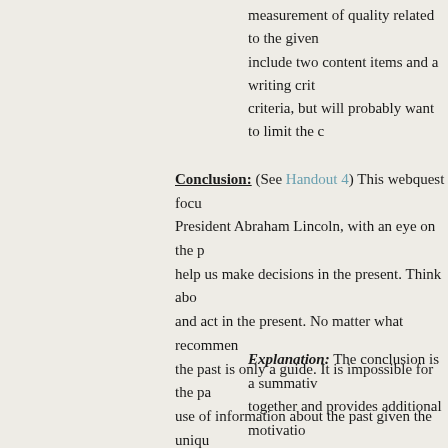measurement of quality related to the given include two content items and a writing crit criteria, but will probably want to limit the c
Conclusion: (See Handout 4) This webquest focu President Abraham Lincoln, with an eye on the p help us make decisions in the present. Think abo and act in the present. No matter what recommen the past is only a guide. It is impossible for the p use of information about the past given the uniqu
Explanation: The conclusion is a summativ together and provides additional motivatio most instances, students will read the concl Sometimes, they may read the conclusion b conclusions should not include the "answer" might also include a prompt for students to webquest, students are reminded that histor we must take care with making these applic